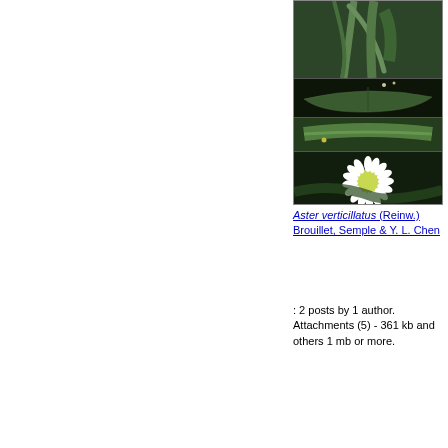[Figure (photo): Four stacked botanical photographs of Aster verticillatus: 1) Close-up of narrow curved leaf/stem against dark green background, 2) Broad leaf viewed from above on dark background, 3) Stem with clasping leaf on dark background, 4) White daisy-like flower with yellow-green center on dark background]
Aster verticillatus (Reinw.) Brouillet, Semple & Y. L. Chen
: 2 posts by 1 author. Attachments (5) - 361 kb and others 1 mb or more.